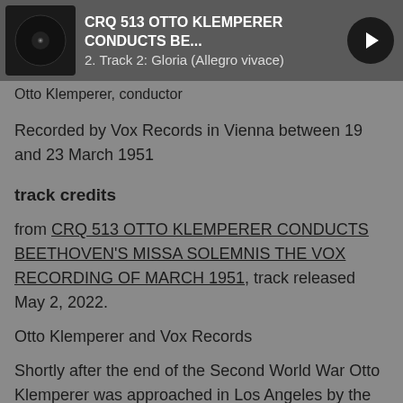CRQ 513 OTTO KLEMPERER CONDUCTS BE... | 2. Track 2: Gloria (Allegro vivace)
Otto Klemperer, conductor
Recorded by Vox Records in Vienna between 19 and 23 March 1951
track credits
from CRQ 513 OTTO KLEMPERER CONDUCTS BEETHOVEN'S MISSA SOLEMNIS THE VOX RECORDING OF MARCH 1951, track released May 2, 2022.
Otto Klemperer and Vox Records
Shortly after the end of the Second World War Otto Klemperer was approached in Los Angeles by the Hungarian-born George Mendelssohn-Bartholdy (no relation of the composer) to record for his nascent